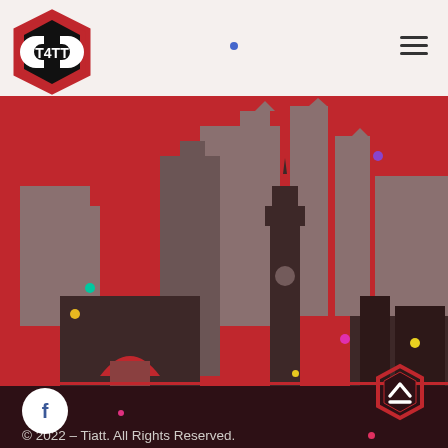[Figure (logo): Tiatt logo — hexagonal badge with red/black/white color scheme and 'T4TT' text]
[Figure (illustration): City skyline illustration with multiple layered silhouettes of buildings and skyscrapers against a red background, with colorful decorative dots scattered around]
© 2022 – Tiatt. All Rights Reserved.
[Figure (logo): Tiatt small hexagonal shield logo in red and white, bottom right corner]
[Figure (other): Facebook social media round button icon, white circle with 'f' letter]